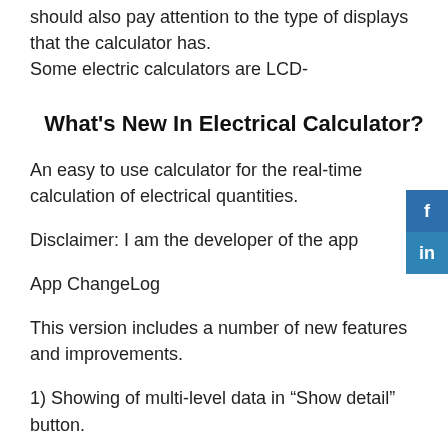should also pay attention to the type of displays that the calculator has.
Some electric calculators are LCD-
What's New In Electrical Calculator?
An easy to use calculator for the real-time calculation of electrical quantities.
Disclaimer: I am the developer of the app
App ChangeLog
This version includes a number of new features and improvements.
1) Showing of multi-level data in “Show detail” button.